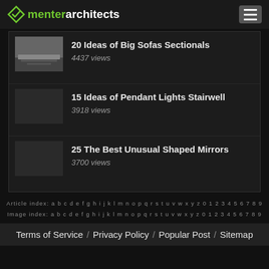menterarchitects
20 Ideas of Big Sofas Sectionals — 4437 views
15 Ideas of Pendant Lights Stairwell — 3918 views
25 The Best Unusual Shaped Mirrors — 3700 views
Article index: a b c d e f g h i j k l m n o p q r s t u v w x y z 0 1 2 3 4 5 6 7 8 9
Image index: a b c d e f g h i j k l m n o p q r s t u v w x y z 0 1 2 3 4 5 6 7 8 9
Terms of Service / Privacy Policy / Popular Post / Sitemap